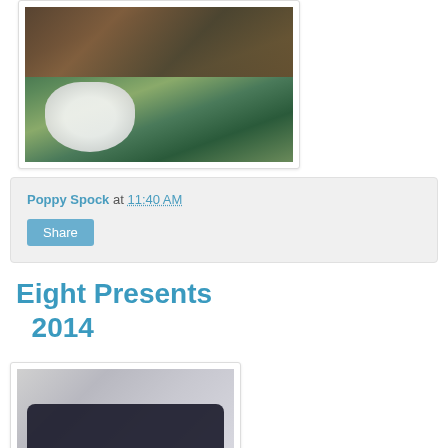[Figure (photo): Photo showing stuffed animal toys (Domo and knitted figures) on a green knitted blanket with a white and black cat]
Poppy Spock at 11:40 AM
Share
Eight Presents 2014
[Figure (photo): Photo of a dark navy blue object (possibly a hat or accessory) against a white brick wall background]